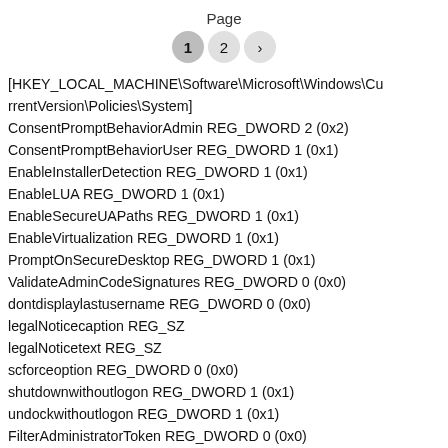Page
1 2 >
[HKEY_LOCAL_MACHINE\Software\Microsoft\Windows\CurrentVersion\Policies\System]
ConsentPromptBehaviorAdmin REG_DWORD 2 (0x2)
ConsentPromptBehaviorUser REG_DWORD 1 (0x1)
EnableInstallerDetection REG_DWORD 1 (0x1)
EnableLUA REG_DWORD 1 (0x1)
EnableSecureUAPaths REG_DWORD 1 (0x1)
EnableVirtualization REG_DWORD 1 (0x1)
PromptOnSecureDesktop REG_DWORD 1 (0x1)
ValidateAdminCodeSignatures REG_DWORD 0 (0x0)
dontdisplaylastusername REG_DWORD 0 (0x0)
legalNoticecaption REG_SZ
legalNoticetext REG_SZ
scforceoption REG_DWORD 0 (0x0)
shutdownwithoutlogon REG_DWORD 1 (0x1)
undockwithoutlogon REG_DWORD 1 (0x1)
FilterAdministratorToken REG_DWORD 0 (0x0)
EnableUIADesktopToggle REG_DWORD 0 (0x0)